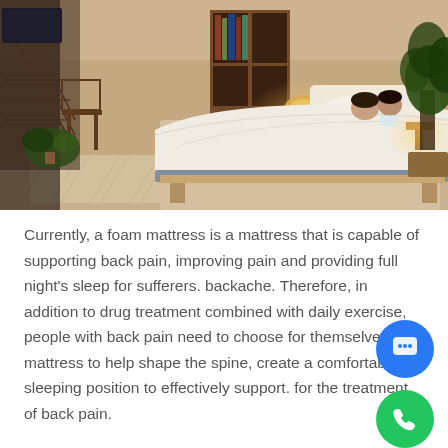[Figure (photo): A couple lying in a large bed with white bedding in a warmly lit bedroom. The room features wooden furniture, a bookshelf, indoor plants, staircase in the background, patterned rug, and warm ambient lighting from table lamps.]
Currently, a foam mattress is a mattress that is capable of supporting back pain, improving pain and providing full night's sleep for sufferers. backache. Therefore, in addition to drug treatment combined with daily exercise, people with back pain need to choose for themselves a mattress to help shape the spine, create a comfortable sleeping position to effectively support. for the treatment of back pain.